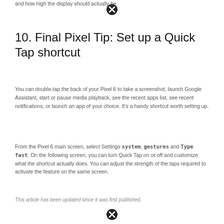and how high the display should actually be.
10. Final Pixel Tip: Set up a Quick Tap shortcut
You can double-tap the back of your Pixel 6 to take a screenshot, launch Google Assistant, start or pause media playback, see the recent apps list, see recent notifications, or launch an app of your choice. It's a handy shortcut worth setting up.
From the Pixel 6 main screen, select Settings system, gestures and Type fast. On the following screen, you can turn Quick Tap on or off and customize what the shortcut actually does. You can adjust the strength of the taps required to activate the feature on the same screen.
This article has been updated since it was first published.